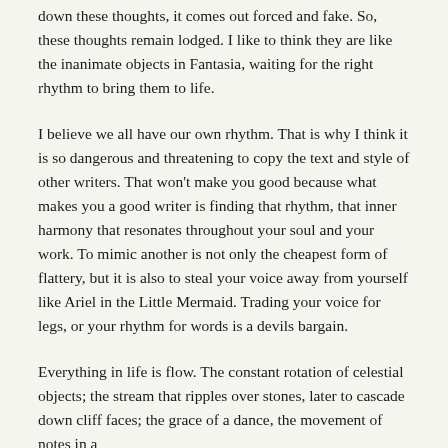down these thoughts, it comes out forced and fake. So, these thoughts remain lodged. I like to think they are like the inanimate objects in Fantasia, waiting for the right rhythm to bring them to life.
I believe we all have our own rhythm. That is why I think it is so dangerous and threatening to copy the text and style of other writers. That won't make you good because what makes you a good writer is finding that rhythm, that inner harmony that resonates throughout your soul and your work. To mimic another is not only the cheapest form of flattery, but it is also to steal your voice away from yourself like Ariel in the Little Mermaid. Trading your voice for legs, or your rhythm for words is a devils bargain.
Everything in life is flow. The constant rotation of celestial objects; the stream that ripples over stones, later to cascade down cliff faces; the grace of a dance, the movement of notes in a